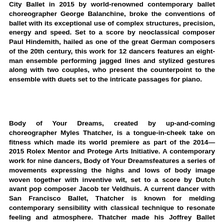City Ballet in 2015 by world-renowned contemporary ballet choreographer George Balanchine, broke the conventions of ballet with its exceptional use of complex structures, precision, energy and speed. Set to a score by neoclassical composer Paul Hindemith, hailed as one of the great German composers of the 20th century, this work for 12 dancers features an eight-man ensemble performing jagged lines and stylized gestures along with two couples, who present the counterpoint to the ensemble with duets set to the intricate passages for piano.
Body of Your Dreams, created by up-and-coming choreographer Myles Thatcher, is a tongue-in-cheek take on fitness which made its world premiere as part of the 2014—2015 Rolex Mentor and Protege Arts Initiative. A contemporary work for nine dancers, Body of Your Dreamsfeatures a series of movements expressing the highs and lows of body image woven together with inventive wit, set to a score by Dutch avant pop composer Jacob ter Veldhuis. A current dancer with San Francisco Ballet, Thatcher is known for melding contemporary sensibility with classical technique to resonate feeling and atmosphere. Thatcher made his Joffrey Ballet choreographic debut with the World Premiere of Passengers in September